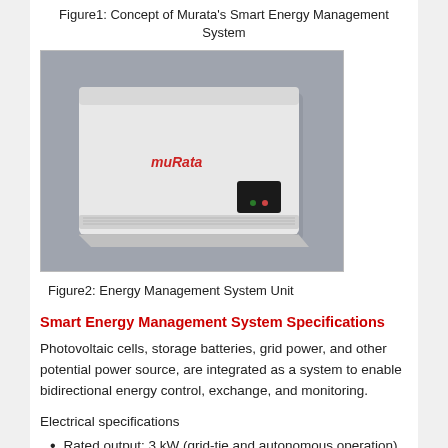Figure1: Concept of Murata's Smart Energy Management System
[Figure (photo): Photo of a white rectangular Energy Management System Unit device with Murata branding in red text and a small black panel with indicator lights on the front face.]
Figure2: Energy Management System Unit
Smart Energy Management System Specifications
Photovoltaic cells, storage batteries, grid power, and other potential power source, are integrated as a system to enable bidirectional energy control, exchange, and monitoring.
Electrical specifications
Rated output: 3 kW (grid-tie and autonomous operation)